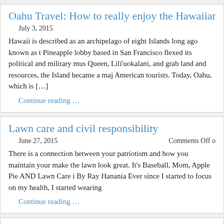Oahu Travel: How to really enjoy the Hawaiian i
July 3, 2015
Hawaii is described as an archipelago of eight Islands long ago known as t Pineapple lobby based in San Francisco flexed its political and military mus Queen, Lili’uokalani, and grab land and resources, the Island became a maj American tourists. Today, Oahu, which is […]
Continue reading …
Lawn care and civil responsibility
June 27, 2015
Comments Off o
There is a connection between your patriotism and how you maintain your make the lawn look great. It’s Baseball, Mom, Apple Pie AND Lawn Care i By Ray Hanania Ever since I started to focus on my health, I started wearing
Continue reading …
Ban the Hate in America not just its Symbols
June 27, 2015
Comments Off on Ban the H
When Dylann Roof murdered nine Blacks as they prayed at a church in Ch